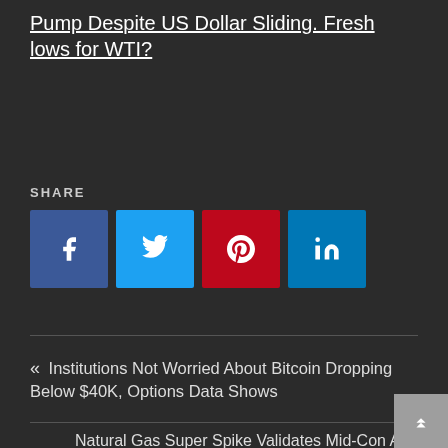Pump Despite US Dollar Sliding. Fresh lows for WTI?
SHARE
[Figure (other): Social share buttons: Facebook, Twitter, Pinterest, LinkedIn]
« Institutions Not Worried About Bitcoin Dropping Below $40K, Options Data Shows
Natural Gas Super Spike Validates Mid-Con And Waha Analyses »